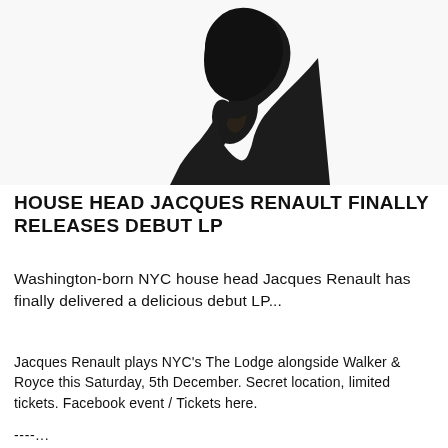[Figure (photo): Silhouette of a person's head and shoulders in profile against a white background, dark shadow image]
HOUSE HEAD JACQUES RENAULT FINALLY RELEASES DEBUT LP
Washington-born NYC house head Jacques Renault has finally delivered a delicious debut LP...
Jacques Renault plays NYC's The Lodge alongside Walker & Royce this Saturday, 5th December. Secret location, limited tickets. Facebook event / Tickets here.
----...